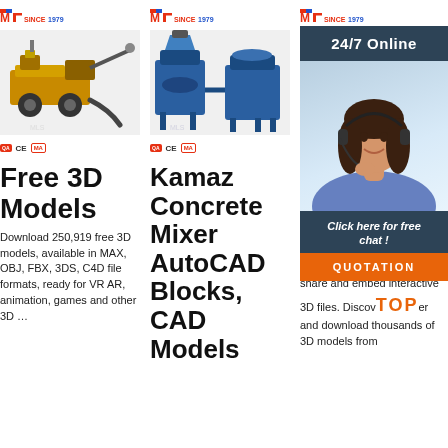[Figure (logo): MLS Since 1979 logo - column 1]
[Figure (photo): Yellow concrete pump machine on wheels]
[Figure (illustration): Certification badges: QA, CE, MA]
Free 3D Models
Download 250,919 free 3D models, available in MAX, OBJ, FBX, 3DS, C4D file formats, ready for VR AR, animation, games and other 3D ...
[Figure (logo): MLS Since 1979 logo - column 2]
[Figure (photo): Blue concrete mixer and tank machine]
[Figure (illustration): Certification badges: QA, CE, MA]
Kamaz Concrete Mixer AutoCAD Blocks, CAD Models F...
[Figure (logo): MLS Since 1979 logo - column 3]
[Figure (photo): Machine partly obscured by chat overlay]
[Figure (screenshot): 24/7 Online chat overlay with woman in headset, Click here for free chat, QUOTATION button]
Po... M... Sk...
Use Sketchfab to publish, share and embed interactive 3D files. Discover and download thousands of 3D models from